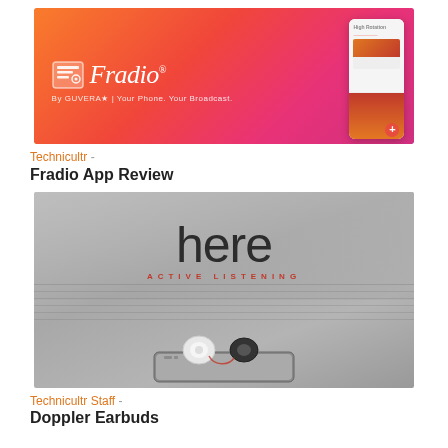[Figure (screenshot): Fradio app promotional banner with orange-pink gradient background, Fradio logo and wordmark on the left, and a smartphone showing the app interface on the right]
Technicultr  -
Fradio App Review
[Figure (photo): Here Active Listening earbuds product photo showing two white and black earbuds resting on a smartphone, with grey background and 'here ACTIVE LISTENING' text overlay]
Technicultr Staff  -
Doppler Earbuds